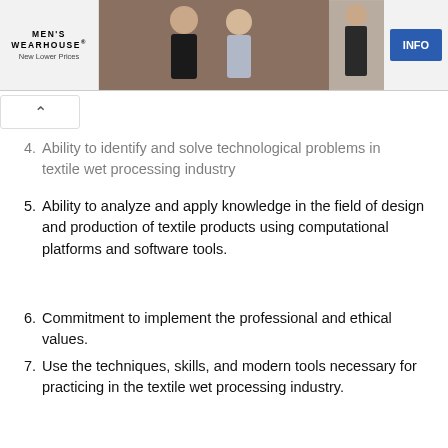[Figure (other): Men's Wearhouse advertisement banner showing a couple in formal wear, a man in a suit, and an INFO button]
4. Ability to identify and solve technological problems in textile wet processing industry
5. Ability to analyze and apply knowledge in the field of design and production of textile products using computational platforms and software tools.
6. Commitment to implement the professional and ethical values.
7. Use the techniques, skills, and modern tools necessary for practicing in the textile wet processing industry.
8. Ability to communicate effectively and work in interdisciplinary groups.
9. Ability to review, comprehend and report technological development.